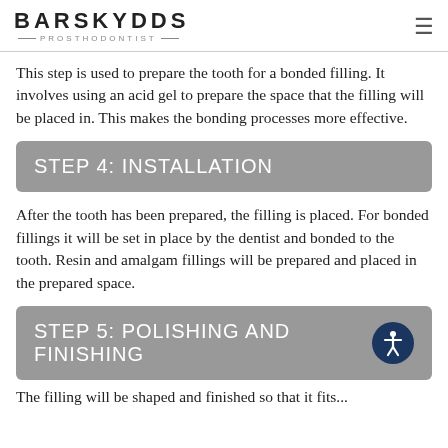BARSKYDDS PROSTHODONTIST
This step is used to prepare the tooth for a bonded filling. It involves using an acid gel to prepare the space that the filling will be placed in. This makes the bonding processes more effective.
STEP 4: INSTALLATION
After the tooth has been prepared, the filling is placed. For bonded fillings it will be set in place by the dentist and bonded to the tooth. Resin and amalgam fillings will be prepared and placed in the prepared space.
STEP 5: POLISHING AND FINISHING
The filling will be shaped and finished so that it fits...